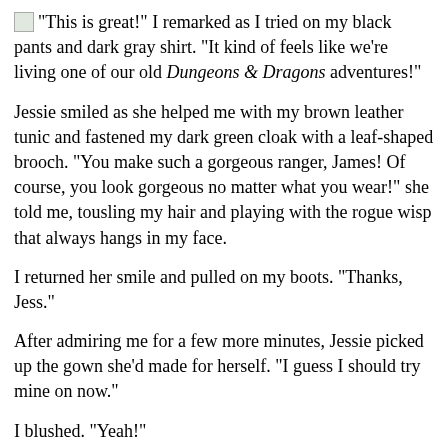"This is great!" I remarked as I tried on my black pants and dark gray shirt. "It kind of feels like we're living one of our old Dungeons & Dragons adventures!"
Jessie smiled as she helped me with my brown leather tunic and fastened my dark green cloak with a leaf-shaped brooch. "You make such a gorgeous ranger, James! Of course, you look gorgeous no matter what you wear!" she told me, tousling my hair and playing with the rogue wisp that always hangs in my face.
I returned her smile and pulled on my boots. "Thanks, Jess."
After admiring me for a few more minutes, Jessie picked up the gown she'd made for herself. "I guess I should try mine on now."
I blushed. "Yeah!"
My cheeks grew even redder than they already were as I watched Jessie take off her clothes and put on her gown of shimmering blue-violet silk. After adjusting the flowing skirt and flared sleeves, she tied a purple sash embroidered with elvish runes around her slim waist. Then, she swept her hair (which she'd left down today) back and crowned it with a jeweled tiara. A little pair of pointy ears added the finishing touch.
"How do I look, James?" she asked as she stepped sideways and turned her...